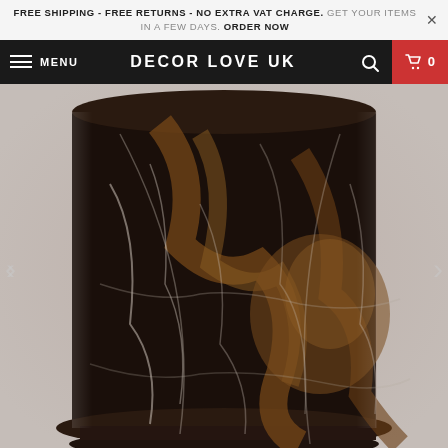FREE SHIPPING - FREE RETURNS - NO EXTRA VAT CHARGE. GET YOUR ITEMS IN A FEW DAYS. ORDER NOW
MENU | DECOR LOVE UK | search | cart 0
[Figure (photo): Close-up product photo of a marble vase or pillar column with black and gold/brown marble pattern with white veining. The item appears cylindrical with decorative base. Background is light gray.]